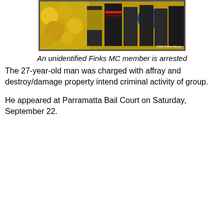[Figure (photo): Photo of an unidentified Finks MC member being arrested by NSW Police Force officers, with yellow flowers visible in the background. NSW Police Force logo/watermark visible in lower right.]
An unidentified Finks MC member is arrested
The 27-year-old man was charged with affray and destroy/damage property intend criminal activity of group.
He appeared at Parramatta Bail Court on Saturday, September 22.